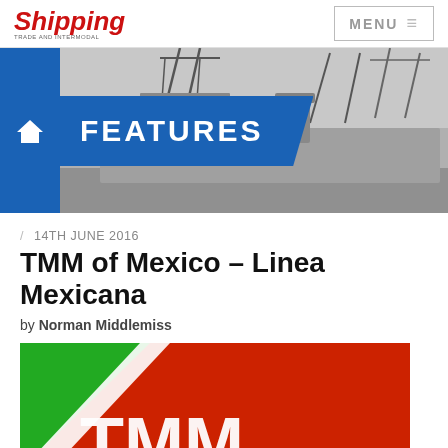Shipping — MENU
[Figure (photo): Black and white photo of cargo ships in port with cranes, overlaid with a blue 'FEATURES' ribbon banner and home icon]
/ 14TH JUNE 2016
TMM of Mexico – Linea Mexicana
by Norman Middlemiss
[Figure (logo): TMM Linea Mexicana logo — red and green diagonal design with white TMM letters partially visible]